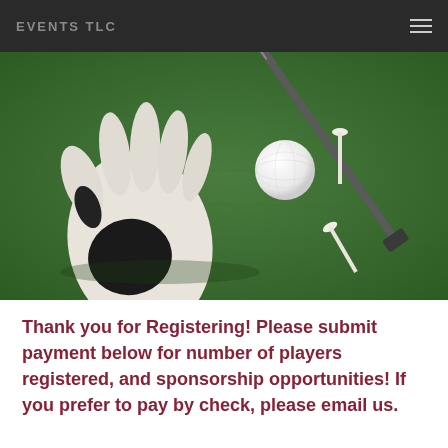EVENTS TLC
[Figure (photo): Overhead view of golf accessories on green grass: a white leather golf glove, a white golf ball, two white golf tees, and a golf club iron resting diagonally across the scene.]
Thank you for Registering!  Please submit payment below for number of players registered, and sponsorship opportunities!  If you prefer to pay by check, please email us.